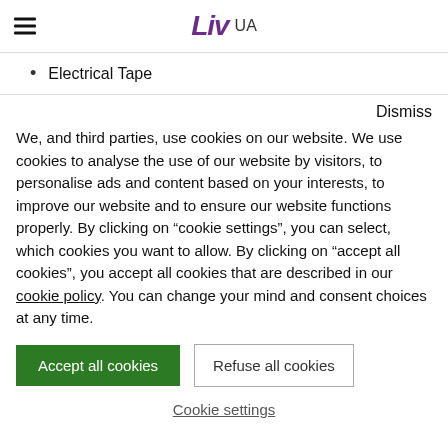Liv UA
Electrical Tape
Dismiss
We, and third parties, use cookies on our website. We use cookies to analyse the use of our website by visitors, to personalise ads and content based on your interests, to improve our website and to ensure our website functions properly. By clicking on “cookie settings”, you can select, which cookies you want to allow. By clicking on “accept all cookies”, you accept all cookies that are described in our cookie policy. You can change your mind and consent choices at any time.
Accept all cookies
Refuse all cookies
Cookie settings